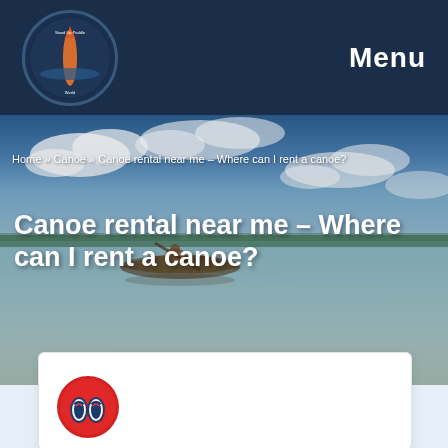Menu
[Figure (screenshot): Aerial/water-level photo of a canoe on shallow turquoise tropical water with clouds in the sky and a distant treeline]
Home » Canoe » Canoe rental near me – Where can I rent a canoe?
Canoe rental near me – Where can I rent a canoe?
[Figure (logo): Round red logo with flip-flop sandal icons on a white/light background]